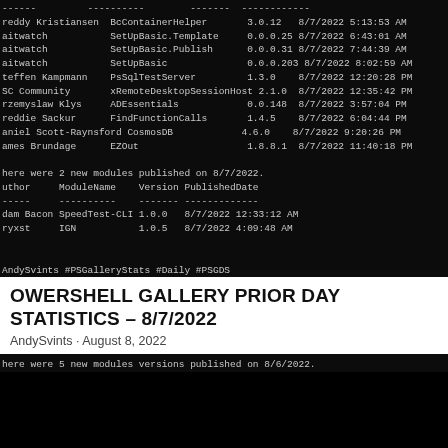[Figure (screenshot): Terminal output showing module list with columns: Author, ModuleName, Version, PublishedDate. Rows include BcContainerHelper, SetUpBasic.Template, SetUpBasic.Publish, SetUpBasic, PsSqlTestServer, xRemoteDesktopSessionHost, ADEssentials, FindFunctionCalls, CosmosDB, EZOut. Then a message about 2 new modules published on 8/7/2022 with SpeedTest-CLI and IGN entries. Footer hashtags: #AndySvints #PSGalleryStats #Daily #PSGDS]
POWERSHELL GALLERY PRIOR DAY STATISTICS – 8/7/2022
andySvints · August 8, 2022
[Figure (screenshot): Terminal output starting with: There were 5 new modules versions published on 8/6/2022.]